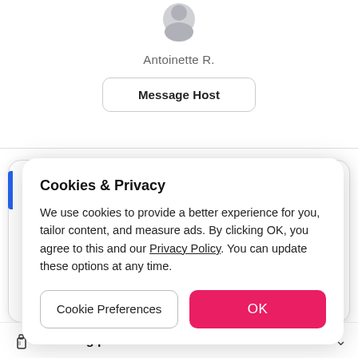[Figure (illustration): Partial avatar/profile icon (grey silhouette, cropped at top)]
Antoinette R.
Message Host
Cookies & Privacy
We use cookies to provide a better experience for you, tailor content, and measure ads. By clicking OK, you agree to this and our Privacy Policy. You can update these options at any time.
Cookie Preferences
OK
Cleaning protocol